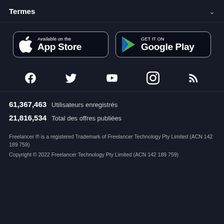Termes
[Figure (logo): App Store and Google Play download buttons]
[Figure (infographic): Social media icons: Facebook, Twitter, YouTube, Instagram, RSS]
61,367,463  Utilisateurs enregistrés
21,816,534  Total des offres publiées
Freelancer ® is a registered Trademark of Freelancer Technology Pty Limited (ACN 142 189 759)
Copyright © 2022 Freelancer Technology Pty Limited (ACN 142 189 759)